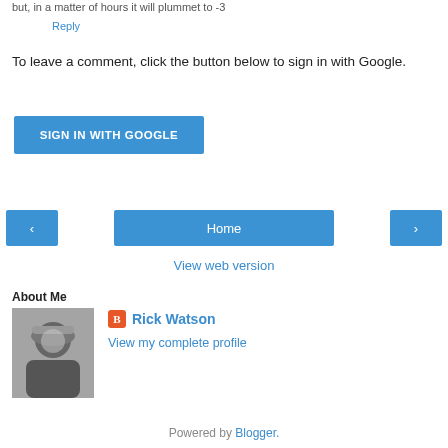but, in a matter of hours it will plummet to -3
Reply
To leave a comment, click the button below to sign in with Google.
[Figure (screenshot): SIGN IN WITH GOOGLE button (blue)]
[Figure (screenshot): Navigation bar with left arrow, Home button, and right arrow]
View web version
About Me
[Figure (photo): Black and white profile photo of Rick Watson wearing a hat]
Rick Watson
View my complete profile
Powered by Blogger.